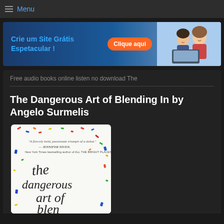Menu
[Figure (photo): Advertisement banner: Crie um Site Grátis Espetacular! with Clique aqui button and two people smiling at a laptop]
Free audio books online listen no download The
The Dangerous Art of Blending In by Angelo Surmelis
[Figure (photo): Book cover of 'The Dangerous Art of Blending In' by Angelo Surmelis, showing colorful confetti on white background with handwritten-style title text]